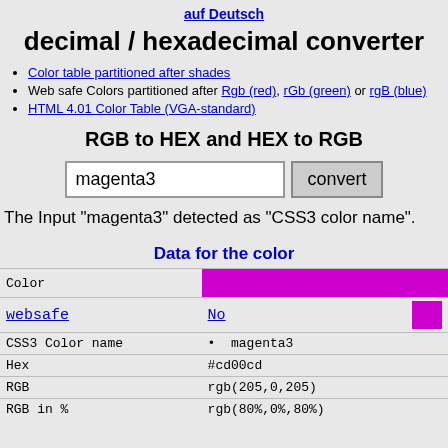auf Deutsch
decimal / hexadecimal converter
Color table partitioned after shades
Web safe Colors partitioned after Rgb (red), rGb (green) or rgB (blue)
HTML 4.01 Color Table (VGA-standard)
RGB to HEX and HEX to RGB
magenta3 [input field] convert [button]
The Input "magenta3" detected as "CSS3 color name".
Data for the color
|  |  |
| --- | --- |
| Color |  |
| websafe | No |
| CSS3 Color name | • magenta3 |
| Hex | #cd00cd |
| RGB | rgb(205,0,205) |
| RGB in % | rgb(80%,0%,80%) |